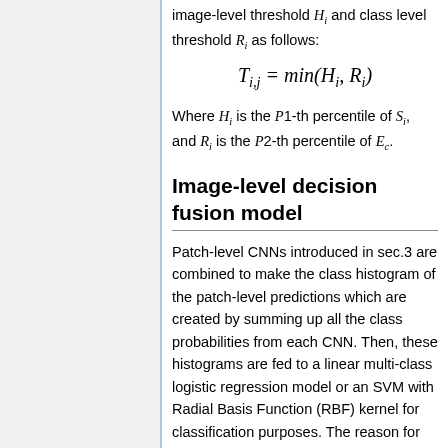image-level threshold H_i and class level threshold R_i as follows:
Where H_i is the P1-th percentile of S_i, and R_i is the P2-th percentile of E_c.
Image-level decision fusion model
Patch-level CNNs introduced in sec.3 are combined to make the class histogram of the patch-level predictions which are created by summing up all the class probabilities from each CNN. Then, these histograms are fed to a linear multi-class logistic regression model or an SVM with Radial Basis Function (RBF) kernel for classification purposes. The reason for combining those